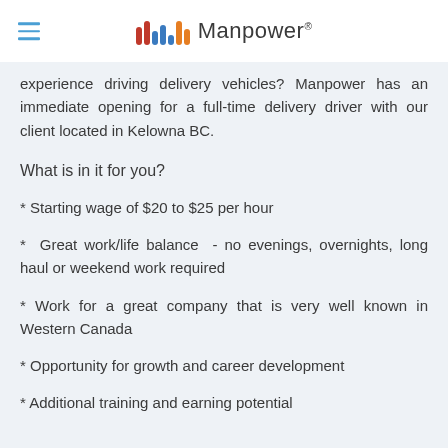Manpower
experience driving delivery vehicles? Manpower has an immediate opening for a full-time delivery driver with our client located in Kelowna BC.
What is in it for you?
* Starting wage of $20 to $25 per hour
* Great work/life balance - no evenings, overnights, long haul or weekend work required
* Work for a great company that is very well known in Western Canada
* Opportunity for growth and career development
* Additional training and earning potential